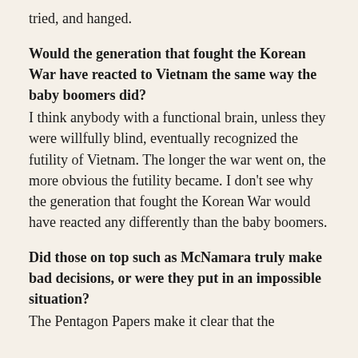tried, and hanged.
Would the generation that fought the Korean War have reacted to Vietnam the same way the baby boomers did?
I think anybody with a functional brain, unless they were willfully blind, eventually recognized the futility of Vietnam. The longer the war went on, the more obvious the futility became. I don't see why the generation that fought the Korean War would have reacted any differently than the baby boomers.
Did those on top such as McNamara truly make bad decisions, or were they put in an impossible situation?
The Pentagon Papers make it clear that the